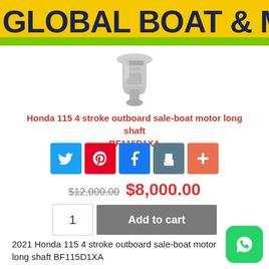GLOBAL BOAT & MARINE
[Figure (photo): Photo of Honda 115 outboard motor, top portion visible, white/silver metallic parts]
Honda 115 4 stroke outboard sale-boat motor long shaft BF115D1XA
[Figure (infographic): Social sharing buttons row: Twitter (blue), Pinterest (red), Facebook (dark blue), Print (teal/grey), Plus/More (orange)]
$12,000.00 $8,000.00
1  Add to cart
2021 Honda 115 4 stroke outboard sale-boat motor long shaft BF115D1XA